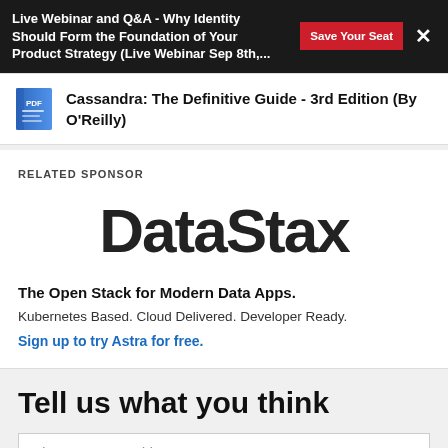Live Webinar and Q&A - Why Identity Should Form the Foundation of Your Product Strategy (Live Webinar Sep 8th,...
Cassandra: The Definitive Guide - 3rd Edition (By O'Reilly)
RELATED SPONSOR
[Figure (logo): DataStax logo in large bold black text]
The Open Stack for Modern Data Apps.
Kubernetes Based. Cloud Delivered. Developer Ready.
Sign up to try Astra for free.
Tell us what you think
Please enter a subject